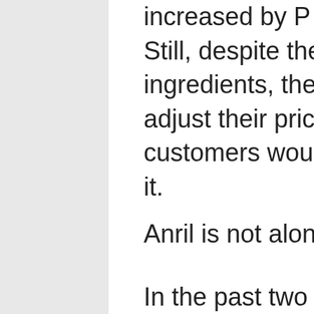increased by P 100 (₱100) per sack. Still, despite the hikes in the prices of ingredients, they cannot afford to adjust their prices as their regular customers would not be able to afford it.
Anril is not alone.
In the past two months, Filipinos are feeling the weight of the incessant price increases. Mainstream economists have attributed it to the oil price hikes and even recent calamities that have